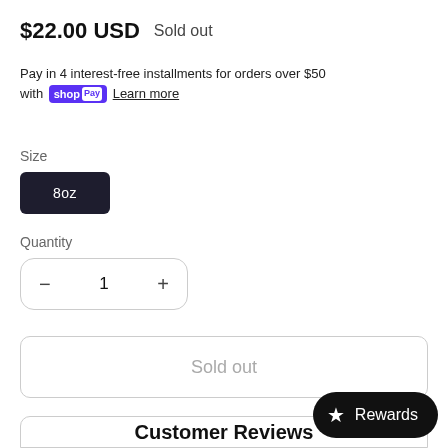$22.00 USD   Sold out
Pay in 4 interest-free installments for orders over $50 with shop Pay  Learn more
Size
8oz
Quantity
- 1 +
Sold out
Customer Reviews
Rewards